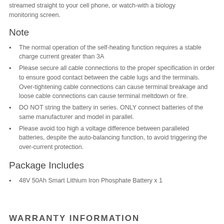streamed straight to your cell phone, or watch-with a biology monitoring screen.
Note
The normal operation of the self-heating function requires a stable charge current greater than 3A
Please secure all cable connections to the proper specification in order to ensure good contact between the cable lugs and the terminals. Over-tightening cable connections can cause terminal breakage and loose cable connections can cause terminal meltdown or fire.
DO NOT string the battery in series. ONLY connect batteries of the same manufacturer and model in parallel.
Please avoid too high a voltage difference between paralleled batteries, despite the auto-balancing function, to avoid triggering the over-current protection.
Package Includes
48V 50Ah Smart Lithium Iron Phosphate Battery x 1
WARRANTY INFORMATION